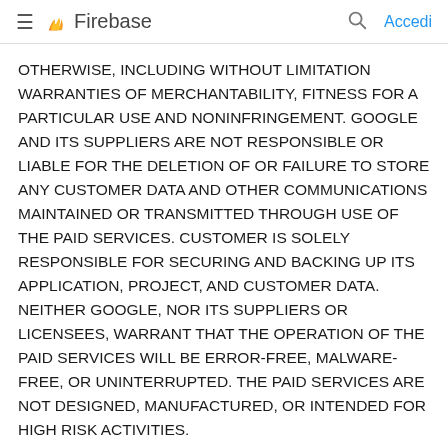Firebase — Accedi
OTHERWISE, INCLUDING WITHOUT LIMITATION WARRANTIES OF MERCHANTABILITY, FITNESS FOR A PARTICULAR USE AND NONINFRINGEMENT. GOOGLE AND ITS SUPPLIERS ARE NOT RESPONSIBLE OR LIABLE FOR THE DELETION OF OR FAILURE TO STORE ANY CUSTOMER DATA AND OTHER COMMUNICATIONS MAINTAINED OR TRANSMITTED THROUGH USE OF THE PAID SERVICES. CUSTOMER IS SOLELY RESPONSIBLE FOR SECURING AND BACKING UP ITS APPLICATION, PROJECT, AND CUSTOMER DATA. NEITHER GOOGLE, NOR ITS SUPPLIERS OR LICENSEES, WARRANT THAT THE OPERATION OF THE PAID SERVICES WILL BE ERROR-FREE, MALWARE- FREE, OR UNINTERRUPTED. THE PAID SERVICES ARE NOT DESIGNED, MANUFACTURED, OR INTENDED FOR HIGH RISK ACTIVITIES.